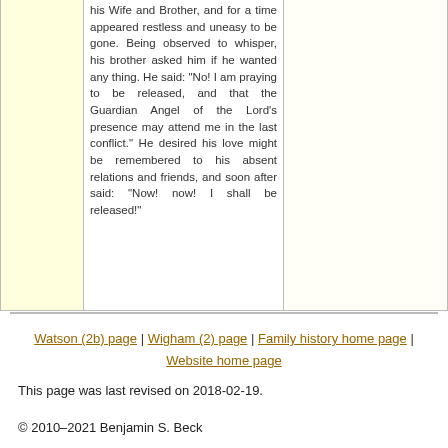his Wife and Brother, and for a time appeared restless and uneasy to be gone. Being observed to whisper, his brother asked him if he wanted any thing. He said: "No! I am praying to be released, and that the Guardian Angel of the Lord's presence may attend me in the last conflict." He desired his love might be remembered to his absent relations and friends, and soon after said: "Now! now! I shall be released!"
Watson (2b) page | Wigham (2) page | Family history home page | Website home page
This page was last revised on 2018-02-19.
© 2010–2021 Benjamin S. Beck